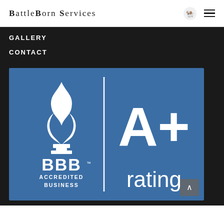BattleBorn Services
GALLERY
CONTACT
[Figure (logo): BBB Accredited Business A+ rating badge. Blue background with white BBB flame logo on the left, a vertical white dividing line in the center, and large white 'A+' text above 'rating' text on the right. Below the flame logo reads 'BBB ACCREDITED BUSINESS'.]